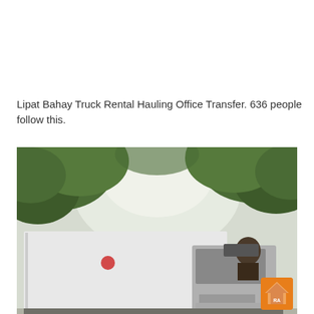Lipat Bahay Truck Rental Hauling Office Transfer. 636 people follow this.
[Figure (photo): A white box truck parked under green trees with bright sky visible. Orange logo badge in bottom-right corner.]